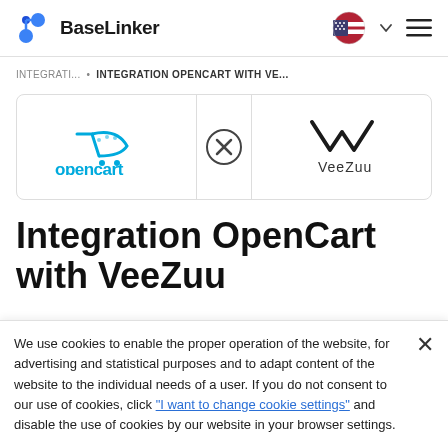BaseLinker
INTEGRATI... • INTEGRATION OPENCART WITH VE...
[Figure (logo): OpenCart logo (teal), X in circle connector icon, VeeZuu logo]
Integration OpenCart with VeeZuu
We use cookies to enable the proper operation of the website, for advertising and statistical purposes and to adapt content of the website to the individual needs of a user. If you do not consent to our use of cookies, click "I want to change cookie settings" and disable the use of cookies by our website in your browser settings.